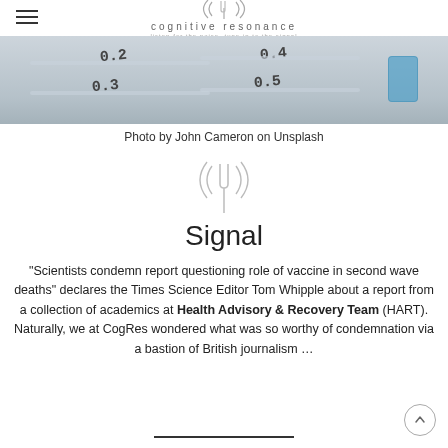cognitive resonance
[Figure (photo): Close-up photo of syringes with measurement markings (0.2, 0.3, 0.4, 0.5) and a vial with blue cap]
Photo by John Cameron on Unsplash
[Figure (logo): Cognitive Resonance tuning fork logo icon in grey]
Signal
“Scientists condemn report questioning role of vaccine in second wave deaths” declares the Times Science Editor Tom Whipple about a report from a collection of academics at Health Advisory & Recovery Team (HART). Naturally, we at CogRes wondered what was so worthy of condemnation via a bastion of British journalism …